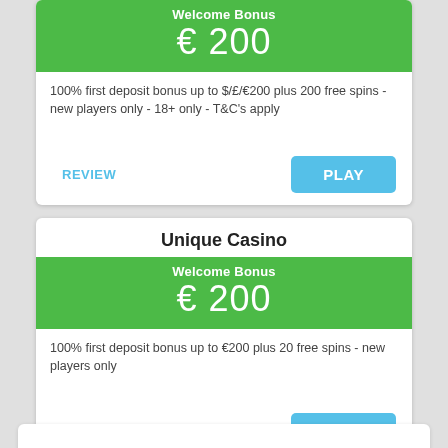Welcome Bonus
€ 200
100% first deposit bonus up to $/£/€200 plus 200 free spins - new players only - 18+ only - T&C's apply
REVIEW
PLAY
Unique Casino
Welcome Bonus
€ 200
100% first deposit bonus up to €200 plus 20 free spins - new players only
REVIEW
PLAY